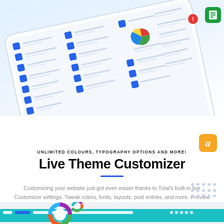[Figure (screenshot): Tablet device showing a customizer/settings panel interface with blue icons and rows of settings options, along with a pie chart and floating app icons]
UNLIMITED COLOURS, TYPOGRAPHY OPTIONS AND MORE!
Live Theme Customizer
Customizing your website just got even easier thanks to Total's built-in live Customizer settings. Tweak colors, fonts, layouts, post entries, and more. Preview your changes before saving to know exactly what your website will look like before going live!
[Figure (screenshot): Bottom partial screenshot showing a donut chart and teal/cyan navigation bar]